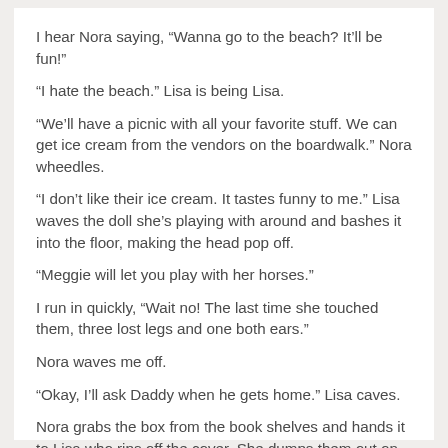I hear Nora saying, “Wanna go to the beach? It’ll be fun!”
“I hate the beach.” Lisa is being Lisa.
“We’ll have a picnic with all your favorite stuff. We can get ice cream from the vendors on the boardwalk.” Nora wheedles.
“I don’t like their ice cream. It tastes funny to me.” Lisa waves the doll she’s playing with around and bashes it into the floor, making the head pop off.
“Meggie will let you play with her horses.”
I run in quickly, “Wait no! The last time she touched them, three lost legs and one both ears.”
Nora waves me off.
“Okay, I’ll ask Daddy when he gets home.” Lisa caves.
Nora grabs the box from the book shelves and hands it to Lisa who rips off the cover. She dumps them out on the floor and horse carnage begins.